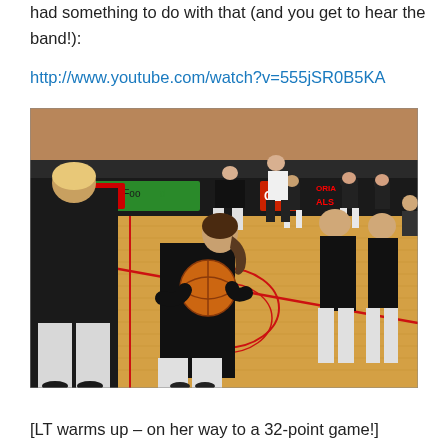had something to do with that (and you get to hear the band!):
http://www.youtube.com/watch?v=555jSR0B5KA
[Figure (photo): Basketball players warming up on an indoor court. A girl in a black long-sleeve shirt holds a basketball in the foreground. Another player in black stands nearby facing away. Several players in white pants are visible in the background. Court advertisements are visible along the sideline boards. Spectators sit in bleachers in the background.]
[LT warms up – on her way to a 32-point game!]